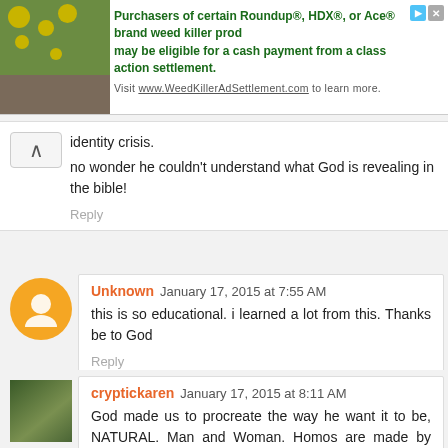[Figure (screenshot): Ad banner: Roundup/HDX/Ace weed killer class action settlement advertisement with plant image]
identity crisis.
no wonder he couldn't understand what God is revealing in the bible!
Reply
Unknown January 17, 2015 at 7:55 AM
this is so educational. i learned a lot from this. Thanks be to God
Reply
cryptickaren January 17, 2015 at 8:11 AM
God made us to procreate the way he want it to be, NATURAL. Man and Woman. Homos are made by God and also has a way to salvation. But explicit actions are not acceptable by God. Thanks be to God Mr. Controversy for another